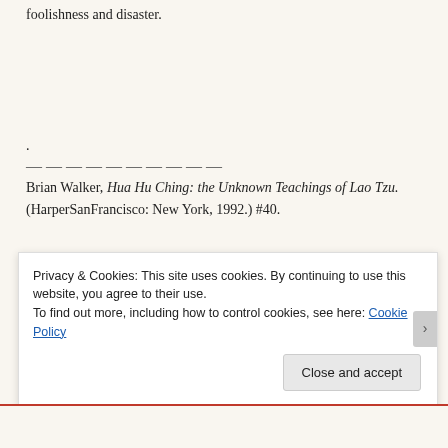foolishness and disaster.
.
——————————
Brian Walker, Hua Hu Ching: the Unknown Teachings of Lao Tzu. (HarperSanFrancisco: New York, 1992.) #40.
.
Nelson Mandela, Larry King Live Interview, aired May 16, 2000. cnn.com/transcripts.
.
Privacy & Cookies: This site uses cookies. By continuing to use this website, you agree to their use.
To find out more, including how to control cookies, see here: Cookie Policy
Close and accept